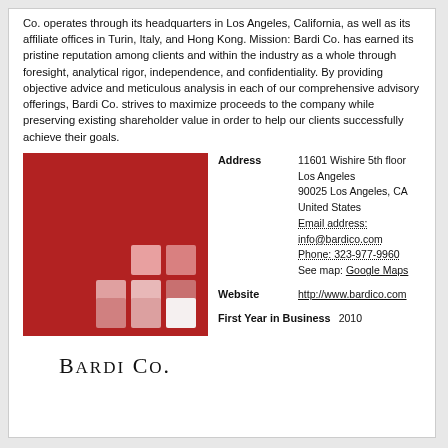Co. operates through its headquarters in Los Angeles, California, as well as its affiliate offices in Turin, Italy, and Hong Kong. Mission: Bardi Co. has earned its pristine reputation among clients and within the industry as a whole through foresight, analytical rigor, independence, and confidentiality. By providing objective advice and meticulous analysis in each of our comprehensive advisory offerings, Bardi Co. strives to maximize proceeds to the company while preserving existing shareholder value in order to help our clients successfully achieve their goals.
[Figure (logo): Bardi Co. logo: red square background with a pattern of lighter pink/white squares in lower right area, and the text BARDI CO. in serif capitals below]
| Address | 11601 Wishire 5th floor
Los Angeles
90025 Los Angeles, CA
United States
Email address: info@bardico.com
Phone: 323-977-9960
See map: Google Maps |
| Website | http://www.bardico.com |
| First Year in Business | 2010 |